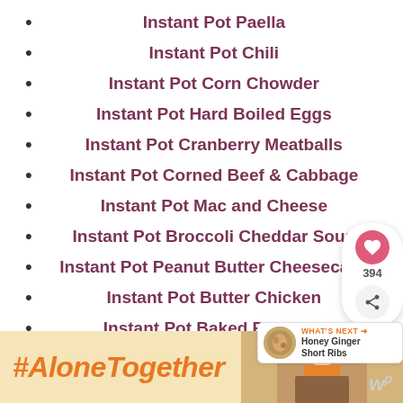Instant Pot Paella
Instant Pot Chili
Instant Pot Corn Chowder
Instant Pot Hard Boiled Eggs
Instant Pot Cranberry Meatballs
Instant Pot Corned Beef & Cabbage
Instant Pot Mac and Cheese
Instant Pot Broccoli Cheddar Soup
Instant Pot Peanut Butter Cheesecake
Instant Pot Butter Chicken
Instant Pot Baked Potatoes
Instant Pot Bean Soup
[Figure (screenshot): Social share widget with heart icon (394 likes) and share button]
[Figure (screenshot): What's Next widget: Honey Ginger Short Ribs thumbnail]
[Figure (screenshot): Advertisement banner: #AloneTogether with woman cooking image]